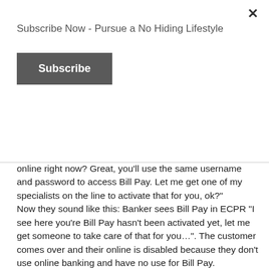×
Subscribe Now - Pursue a No Hiding Lifestyle
Subscribe
online right now? Great, you'll use the same username and password to access Bill Pay. Let me get one of my specialists on the line to activate that for you, ok?"
Now they sound like this: Banker sees Bill Pay in ECPR "I see here you're Bill Pay hasn't been activated yet, let me get someone to take care of that for you...". The customer comes over and their online is disabled because they don't use online banking and have no use for Bill Pay.
Bankers are not making needs based referrals, they just offer what it's in ECPR because it's there, and what's in ECPR is almost never the right thing for the customer. They aren't even putting basic common sense or thought into it. If ECPR is to continue, it would make sense to say "I see the customer has an offer for Bill Pay, let me ask...